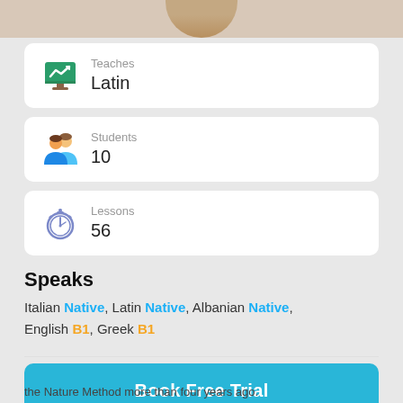[Figure (photo): Partial profile photo of a tutor, showing the top of head and shoulders cropped at top of page]
Teaches
Latin
Students
10
Lessons
56
Speaks
Italian Native, Latin Native, Albanian Native, English B1, Greek B1
Book Free Trial
the Nature Method more than four years ago.